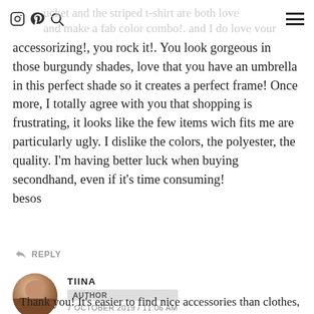ucket and the striped t-shirt are both loved and make a fab color combo!, and I do love your accessorizing!
accessorizing!, you rock it!. You look gorgeous in those burgundy shades, love that you have an umbrella in this perfect shade so it creates a perfect frame! Once more, I totally agree with you that shopping is frustrating, it looks like the few items wich fits me are particularly ugly. I dislike the colors, the polyester, the quality. I'm having better luck when buying secondhand, even if it's time consuming!
besos
REPLY
TIINA
AUTHOR
7 OCTOBER 2019 / 11:06 AM
Thank you! It's easier to find nice accessories than clothes, don't you think? Which may explain my bag and shoe collection.